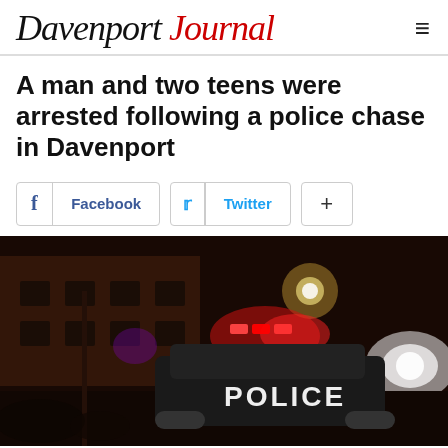Davenport Journal
A man and two teens were arrested following a police chase in Davenport
[Figure (other): Nighttime photo of a police car with lights on parked in front of a building, with 'POLICE' text visible on the vehicle.]